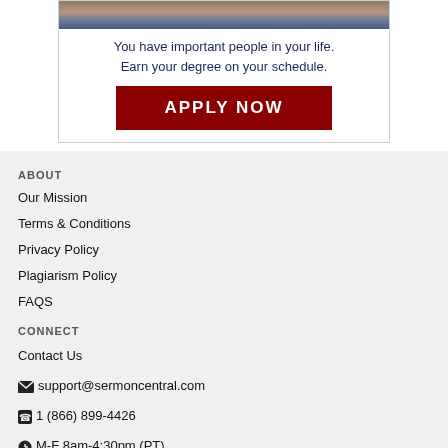[Figure (photo): Advertisement banner showing people with text 'You have important people in your life. Earn your degree on your schedule.' and a dark red APPLY NOW button]
ABOUT
Our Mission
Terms & Conditions
Privacy Policy
Plagiarism Policy
FAQS
CONNECT
Contact Us
✉ support@sermoncentral.com
☎ 1 (866) 899-4426
⏰ M-F 8am-4:30pm (PT)
Facebook